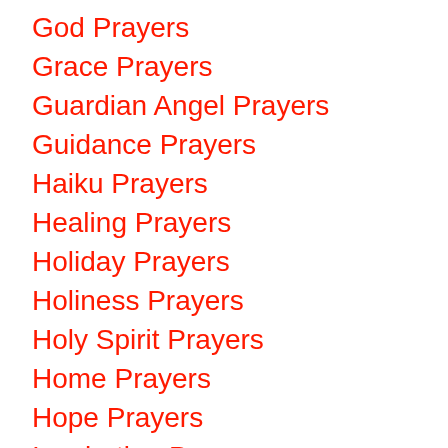God Prayers
Grace Prayers
Guardian Angel Prayers
Guidance Prayers
Haiku Prayers
Healing Prayers
Holiday Prayers
Holiness Prayers
Holy Spirit Prayers
Home Prayers
Hope Prayers
Inspiration Prayers
Intercession Prayers
Invocation Prayers